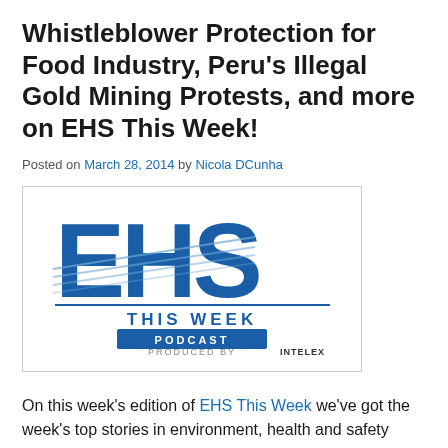Whistleblower Protection for Food Industry, Peru's Illegal Gold Mining Protests, and more on EHS This Week!
Posted on March 28, 2014 by Nicola DCunha
[Figure (logo): EHS This Week Podcast logo produced by Intelex]
On this week's edition of EHS This Week we've got the week's top stories in environment, health and safety news: